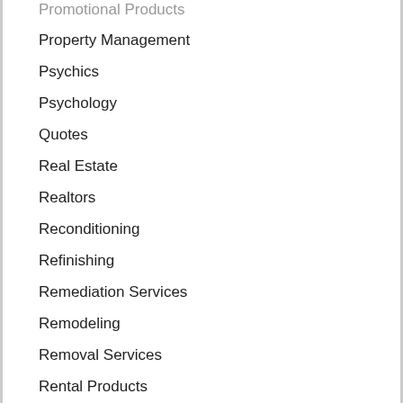Promotional Products
Property Management
Psychics
Psychology
Quotes
Real Estate
Realtors
Reconditioning
Refinishing
Remediation Services
Remodeling
Removal Services
Rental Products
Rental Services
Rentals
Repairs